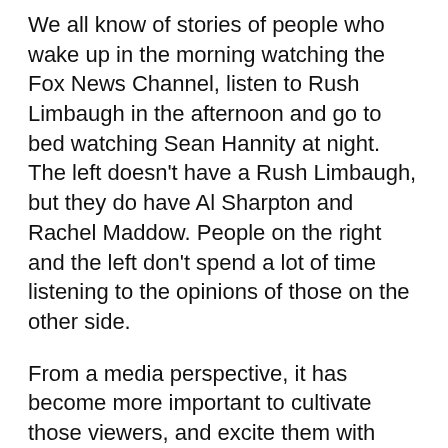We all know of stories of people who wake up in the morning watching the Fox News Channel, listen to Rush Limbaugh in the afternoon and go to bed watching Sean Hannity at night. The left doesn't have a Rush Limbaugh, but they do have Al Sharpton and Rachel Maddow. People on the right and the left don't spend a lot of time listening to the opinions of those on the other side.
From a media perspective, it has become more important to cultivate those viewers, and excite them with news that gets more viewers and more clicks. It used to be said that if it bleeds, it leads. These days, what tends to lead is racial conflict, the Kardashians and terrorism.
The feedback loop has given rise to another phenomenon, advocacy journalism. It used to be the case that journalists were supposed to keep their opinions to themselves. Now, they broadly and loudly proclaim it, mostly from their ivory towers. Opinions